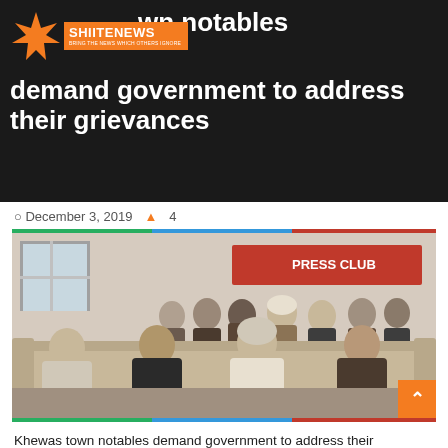SHIITENEWS
Khewas town notables demand government to address their grievances
December 3, 2019  4
[Figure (photo): Group of men seated on sofas and chairs in a room with a red banner, appearing to be a press conference or community meeting in Khewas town.]
Khewas town notables demand government to address their grievances. Takfiri terrorists obliterated Shia majority Khewas town on September